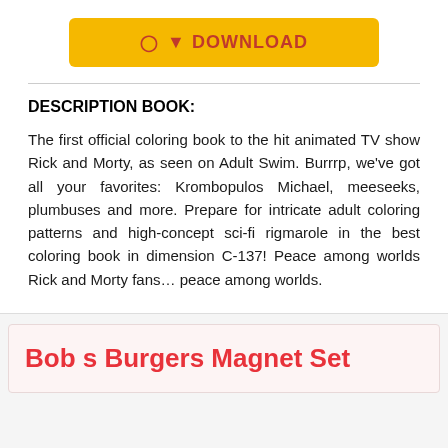[Figure (other): Yellow download button with cloud/download icon and text DOWNLOAD in dark red/orange color]
DESCRIPTION BOOK:
The first official coloring book to the hit animated TV show Rick and Morty, as seen on Adult Swim. Burrrp, we've got all your favorites: Krombopulos Michael, meeseeks, plumbuses and more. Prepare for intricate adult coloring patterns and high-concept sci-fi rigmarole in the best coloring book in dimension C-137! Peace among worlds Rick and Morty fans… peace among worlds.
Bob s Burgers Magnet Set